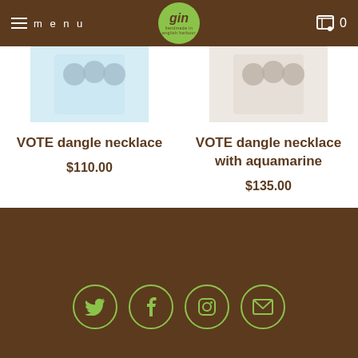menu | gin logo | 0
[Figure (photo): Product image of VOTE dangle necklace on light blue background]
VOTE dangle necklace
$110.00
[Figure (photo): Product image of VOTE dangle necklace with aquamarine on cream background]
VOTE dangle necklace with aquamarine
$135.00
Social icons: Twitter, Facebook, Instagram, Email